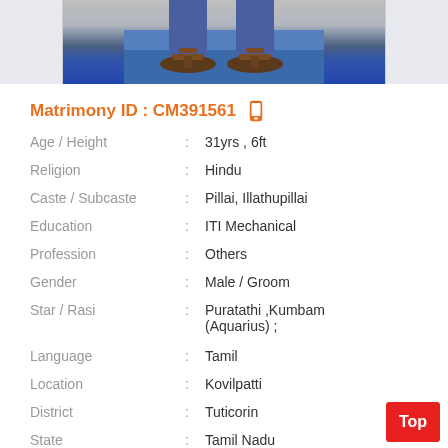[Figure (photo): Bottom portion of a person standing wearing sandals/slippers on a blue floor, only legs and feet visible]
Matrimony ID : CM391561
| Age / Height | : | 31yrs , 6ft |
| Religion | : | Hindu |
| Caste / Subcaste | : | Pillai, Illathupillai |
| Education | : | ITI Mechanical |
| Profession | : | Others |
| Gender | : | Male / Groom |
| Star / Rasi | : | Puratathi ,Kumbam (Aquarius) ; |
| Language | : | Tamil |
| Location | : | Kovilpatti |
| District | : | Tuticorin |
| State | : | Tamil Nadu |
| Country | : | India |